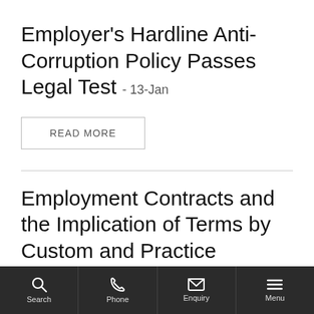Employer's Hardline Anti-Corruption Policy Passes Legal Test - 13-Jan
READ MORE
Employment Contracts and the Implication of Terms by Custom and Practice
Search | Phone | Enquiry | Menu